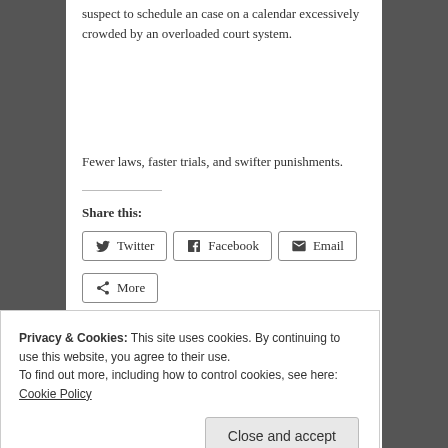suspect to schedule an case on a calendar excessively crowded by an overloaded court system.
Fewer laws, faster trials, and swifter punishments.
Share this:
Twitter Facebook Email More
Privacy & Cookies: This site uses cookies. By continuing to use this website, you agree to their use.
To find out more, including how to control cookies, see here: Cookie Policy
Close and accept